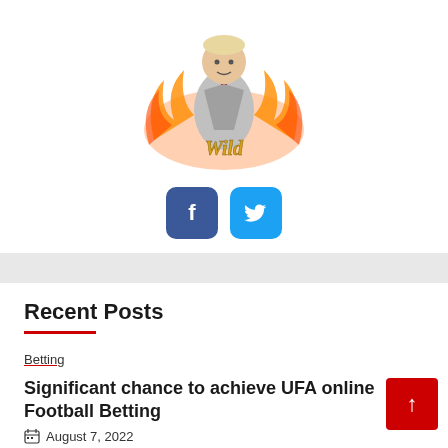[Figure (illustration): Wild card game character illustration — a man in a silver suit with fire effects and golden 'Wild' text below]
[Figure (infographic): Social media icons: Facebook (dark blue rounded square) and Twitter (light blue rounded square)]
Recent Posts
Betting
Significant chance to achieve UFA online Football Betting
August 7, 2022